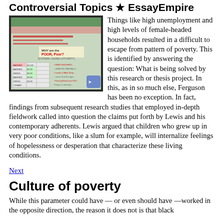Controversial Topics ★ EssayEmpire
[Figure (photo): A whiteboard or poster about poverty with the text 'WHY are the POOR, Poor?' and a table with data about poverty statistics.]
Things like high unemployment and high levels of female-headed households resulted in a difficult to escape from pattern of poverty. This is identified by answering the question: What is being solved by this research or thesis project. In this, as in so much else, Ferguson has been no exception. In fact, findings from subsequent research studies that employed in-depth fieldwork called into question the claims put forth by Lewis and his contemporary adherents. Lewis argued that children who grew up in very poor conditions, like a slum for example, will internalize feelings of hopelessness or desperation that characterize these living conditions.
Next
Culture of poverty
While this parameter could have — or even should have —worked in the opposite direction, the reason it does not is that black